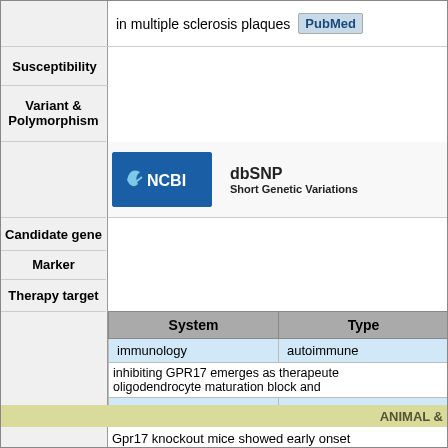in multiple sclerosis plaques PubMed
| System | Type |
| --- | --- |
| immunology | autoimmune |
| inhibiting GPR17 emerges as therapeutic oligodendrocyte maturation block and |  |
| neurology | neurodegenerative |
| may serve as a potential therapeutic tar |  |
| neurology | acquired |
| target for neurorepair and are particularly for traumatic brain injury (TBI) patient |  |
ANIMAL &
Gpr17 knockout mice showed early onset